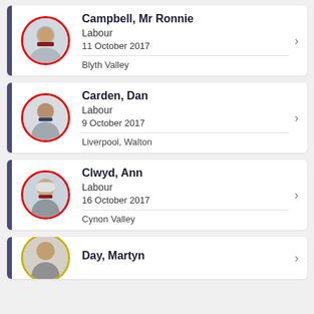Campbell, Mr Ronnie | Labour | 11 October 2017 | Blyth Valley
Carden, Dan | Labour | 9 October 2017 | Liverpool, Walton
Clwyd, Ann | Labour | 16 October 2017 | Cynon Valley
Day, Martyn